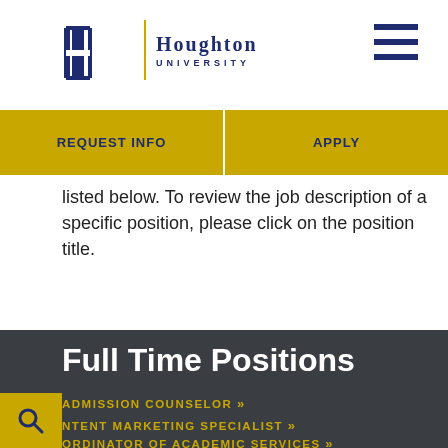[Figure (logo): Houghton University logo with architectural icon and text]
[Figure (other): Hamburger menu icon (three horizontal lines)]
REQUEST INFO
APPLY
listed below. To review the job description of a specific position, please click on the position title.
Full Time Positions
ADMISSION COUNSELOR »
NTENT MARKETING SPECIALIST »
ORDINATOR OF ACADEMIC SERVICES »